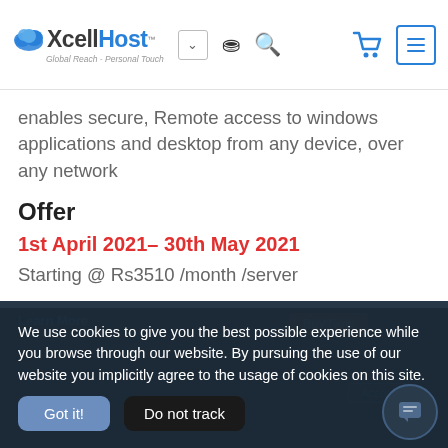XcellHost - Global Reach - Personal Touch
enables secure, Remote access to windows applications and desktop from any device, over any network
Offer
1st April 2021– 30th May 2021
Starting @ Rs3510 /month /server
We use cookies to give you the best possible experience while you browse through our website. By pursuing the use of our website you implicitly agree to the usage of cookies on this site.
Got it!   Do not track